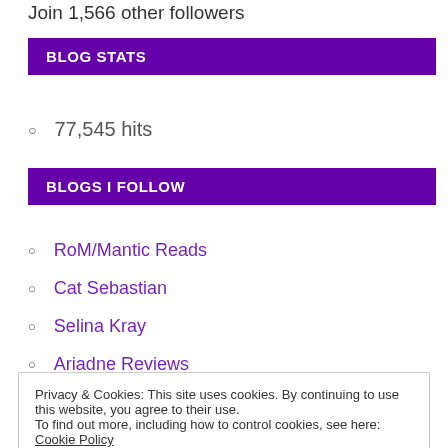Join 1,566 other followers
BLOG STATS
77,545 hits
BLOGS I FOLLOW
RoM/Mantic Reads
Cat Sebastian
Selina Kray
Ariadne Reviews
J. R. Lawie
Privacy & Cookies: This site uses cookies. By continuing to use this website, you agree to their use.
To find out more, including how to control cookies, see here: Cookie Policy
Close and accept